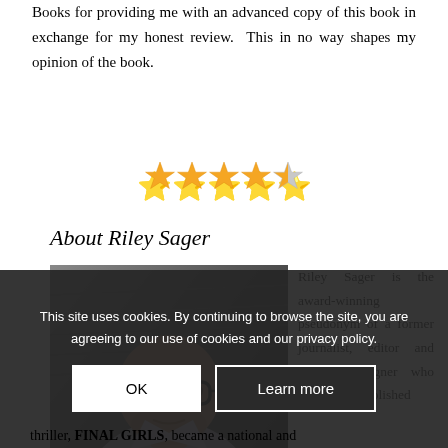Books for providing me with an advanced copy of this book in exchange for my honest review. This in no way shapes my opinion of the book.
[Figure (other): Star rating: 4.5 out of 5 stars (four filled gold stars and one half-filled star)]
About Riley Sager
[Figure (photo): Photo of Riley Sager: a bald man with glasses, wearing a light purple/grey shirt, resting his chin on his fist]
Riley Sager is the award-winning pseudonym of a former journalist, editor and graphic designer who previously published mysteries under his real name. Now a full-time author, Riley's first thriller, FINAL GIRLS, became a national and
This site uses cookies. By continuing to browse the site, you are agreeing to our use of cookies and our privacy policy.